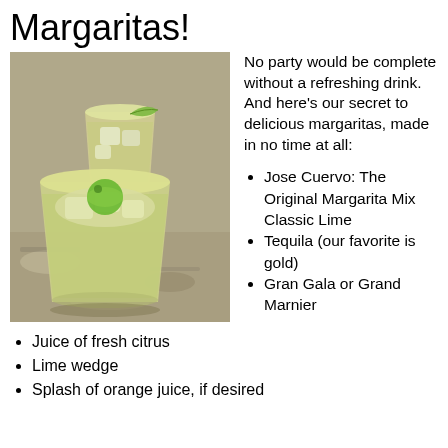Margaritas!
[Figure (photo): Two margarita glasses filled with a pale yellow-green slushy drink, garnished with lime wedges, sitting on a granite countertop.]
No party would be complete without a refreshing drink. And here's our secret to delicious margaritas, made in no time at all:
Jose Cuervo: The Original Margarita Mix Classic Lime
Tequila (our favorite is gold)
Gran Gala or Grand Marnier
Juice of fresh citrus
Lime wedge
Splash of orange juice, if desired